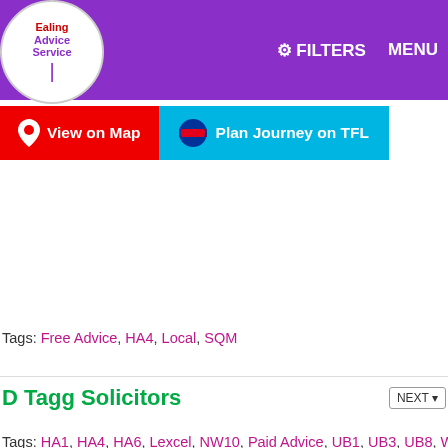Ealing Advice Service — FILTERS MENU
[Figure (logo): Ealing Advice Service circular logo]
View on Map | Plan Journey on TFL
Tags: Free Advice, HA4, Local, SQM
D Tagg Solicitors
Tags: HA1, HA4, HA6, Lexcel, NW10, Paid Advice, UB1, UB3, UB8, W13